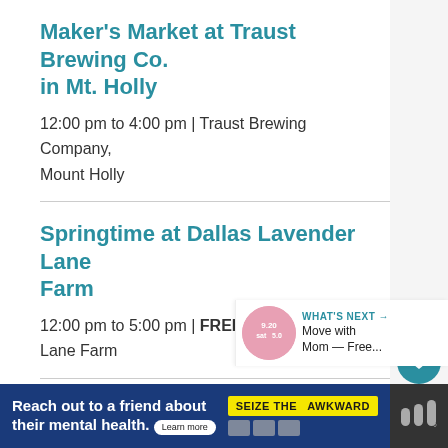Maker's Market at Traust Brewing Co. in Mt. Holly
12:00 pm to 4:00 pm | Traust Brewing Company, Mount Holly
Springtime at Dallas Lavender Lane Farm
12:00 pm to 5:00 pm | FREE | Dallas Lavender Lane Farm
Second Sundays Vendor Market at Buzzed Viking
12:00 pm to 5:00 pm | Discounted | Buzzed Viking Brewing Company
[Figure (screenshot): What's Next panel with circular thumbnail showing a pink/rose event image with text 'Move with Mom — Free...']
[Figure (screenshot): Teal heart/favorite button and white share button overlaid on right side]
Reach out to a friend about their mental health. Learn more SEIZE THE AWKWARD